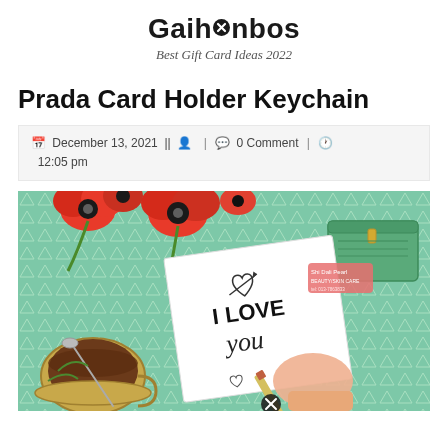Gaihanbos — Best Gift Card Ideas 2022
Prada Card Holder Keychain
December 13, 2021 || [user icon] | [comment icon] 0 Comment | [clock icon] 12:05 pm
[Figure (illustration): Illustrated flatlay scene with red poppies on a teal/mint triangular-pattern background, a white card reading 'I LOVE you' with a small heart and arrow, a green zipper pouch, a teacup with coffee and a decorative spoon, and a hand writing with a pencil.]